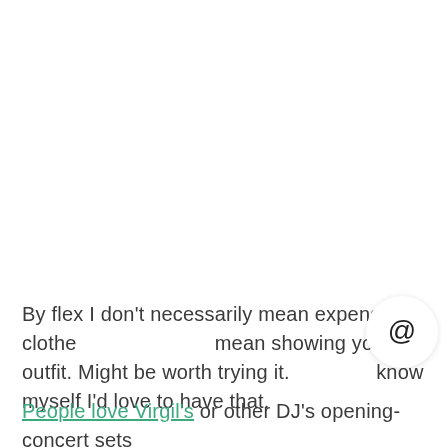By flex I don't necessarily mean expensive clothes, I mean showing your outfit. Might be worth trying it. I know myself I'd love to have that.
People love Virgil's or other DJ's opening-concert sets but what if you'd have that kind of atmosphere lasting